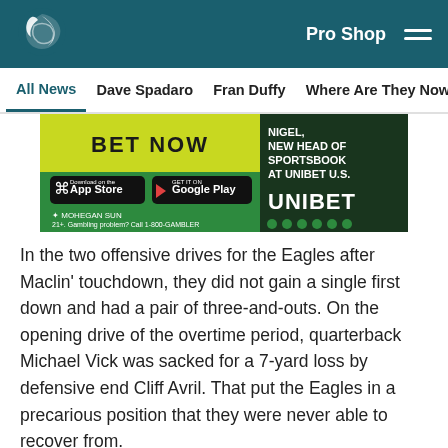Philadelphia Eagles – Pro Shop
All News | Dave Spadaro | Fran Duffy | Where Are They Now? | Pu
[Figure (photo): Unibet advertisement banner showing 'BET NOW' button, App Store and Google Play download buttons, Mohegan Sun Pocono logo, '21+. Gambling problem? Call 1-800-GAMBLER', text 'NIGEL, NEW HEAD OF SPORTSBOOK AT UNIBET U.S.', and Unibet logo with green dots.]
In the two offensive drives for the Eagles after Maclin' touchdown, they did not gain a single first down and had a pair of three-and-outs. On the opening drive of the overtime period, quarterback Michael Vick was sacked for a 7-yard loss by defensive end Cliff Avril. That put the Eagles in a precarious position that they were never able to recover from.
[Figure (infographic): Social sharing icons row: Facebook, Twitter, Email, Link/chain icon]